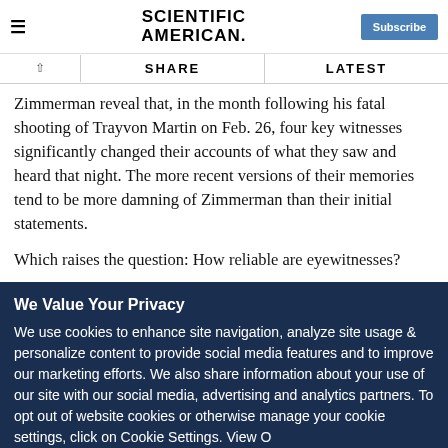SCIENTIFIC AMERICAN
Zimmerman reveal that, in the month following his fatal shooting of Trayvon Martin on Feb. 26, four key witnesses significantly changed their accounts of what they saw and heard that night. The more recent versions of their memories tend to be more damning of Zimmerman than their initial statements.
Which raises the question: How reliable are eyewitnesses?
We Value Your Privacy
We use cookies to enhance site navigation, analyze site usage & personalize content to provide social media features and to improve our marketing efforts. We also share information about your use of our site with our social media, advertising and analytics partners. To opt out of website cookies or otherwise manage your cookie settings, click on Cookie Settings. View O...